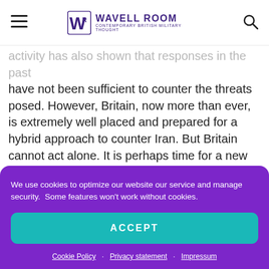Wavell Room — Contemporary British Military Thought
activity has also shown that responses in the past have not been sufficient to counter the threats posed. However, Britain, now more than ever, is extremely well placed and prepared for a hybrid approach to counter Iran. But Britain cannot act alone. It is perhaps time for a new Joint Comprehensive Plan of Action that focuses on Iran as a whole and not just its nuclear sector. It would
We use cookies to optimize our website our service and manage security.  Some features won't work without cookies.
ACCEPT
Cookie Policy · Privacy statement · Impressum